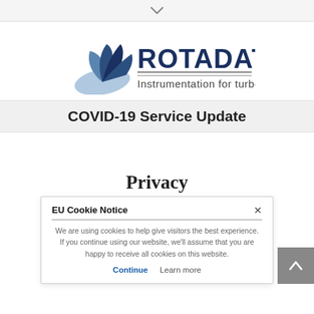[Figure (logo): Rotadata logo — fan/blade icon in dark and light blues, with 'ROTADATA' in bold dark blue serif text and two horizontal lines, and 'Instrumentation for turbomachinery' subtitle]
COVID-19 Service Update
Privacy
EU Cookie Notice
We are using cookies to help give visitors the best experience. If you continue using our website, we'll assume that you are happy to receive all cookies on this website.
Continue   Learn more
including your IP address, operating system and browser type, for system administration and a